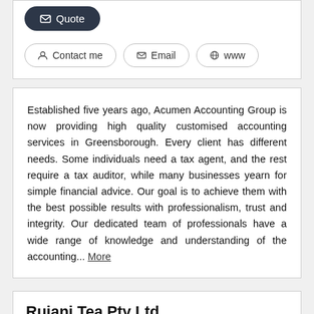[Figure (screenshot): Quote button (dark pill-shaped button with envelope icon and 'Quote' text)]
[Figure (screenshot): Three action buttons: 'Contact me', 'Email', 'www' each with icons, pill-shaped with border]
Established five years ago, Acumen Accounting Group is now providing high quality customised accounting services in Greensborough. Every client has different needs. Some individuals need a tax agent, and the rest require a tax auditor, while many businesses yearn for simple financial advice. Our goal is to achieve them with the best possible results with professionalism, trust and integrity. Our dedicated team of professionals have a wide range of knowledge and understanding of the accounting... More
Rujani Tea Pty Ltd
Personal and Business > Meals and Food
[Figure (photo): Photo of loose tea leaves on a white ceramic spoon against a light background]